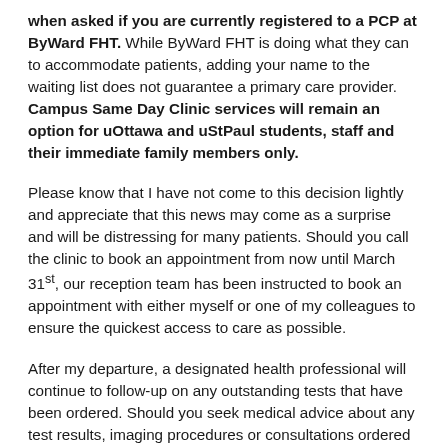when asked if you are currently registered to a PCP at ByWard FHT. While ByWard FHT is doing what they can to accommodate patients, adding your name to the waiting list does not guarantee a primary care provider. Campus Same Day Clinic services will remain an option for uOttawa and uStPaul students, staff and their immediate family members only.
Please know that I have not come to this decision lightly and appreciate that this news may come as a surprise and will be distressing for many patients. Should you call the clinic to book an appointment from now until March 31st, our reception team has been instructed to book an appointment with either myself or one of my colleagues to ensure the quickest access to care as possible.
After my departure, a designated health professional will continue to follow-up on any outstanding tests that have been ordered. Should you seek medical advice about any test results, imaging procedures or consultations ordered by any doctor seen after March 31st, 2022, for example, after